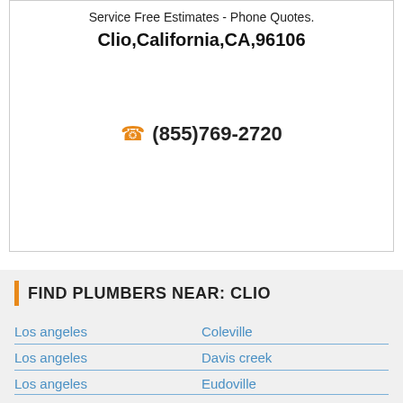Service Free Estimates - Phone Quotes.
Clio,California,CA,96106
(855)769-2720
FIND PLUMBERS NEAR: CLIO
Los angeles
Coleville
Los angeles
Davis creek
Los angeles (partial)
Eudoville (partial)